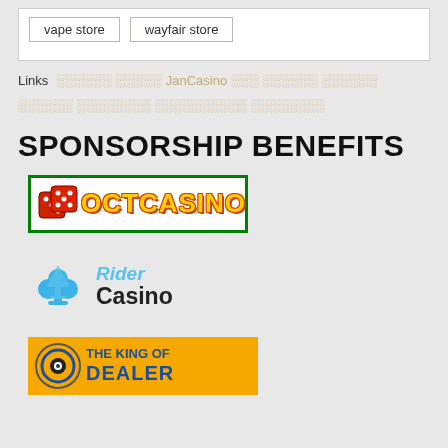[Figure (other): Tag buttons: 'vape store' and 'wayfair store' in a white box]
Links ░░░░░░ ░░░░░ JanCasino ░░░ ░░░░░░ ░░░░░░ ░░░░░░ ░░░░░░░░ ░░░░░░░░░░ ░░░░░░░░
SPONSORSHIP BENEFITS
[Figure (logo): OCTCASINO logo: red dice with yellow text 'OCTCASINO' on white background with green border]
[Figure (logo): Rider Casino logo: blue spade/club icon with 'Rider Casino' text]
[Figure (logo): The King of Dealer logo: circular icon with gold background and blue text]